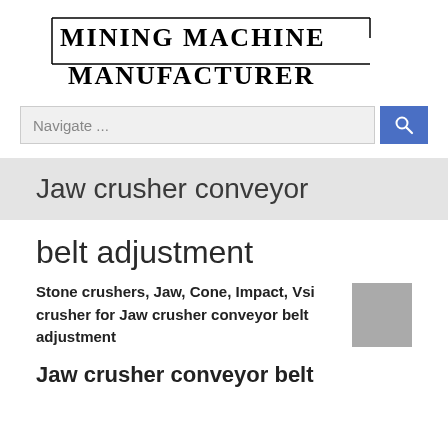MINING MACHINE MANUFACTURER
[Figure (screenshot): Search navigation bar with text field showing 'Navigate ...' and a blue search button with magnifying glass icon]
Jaw crusher conveyor
belt adjustment
Stone crushers, Jaw, Cone, Impact, Vsi crusher for Jaw crusher conveyor belt adjustment
Jaw crusher conveyor belt